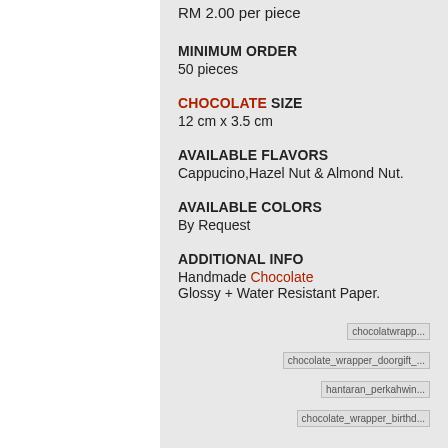RM 2.00 per piece
MINIMUM ORDER
50 pieces
CHOCOLATE SIZE
12 cm x 3.5 cm
AVAILABLE FLAVORS
Cappucino,Hazel Nut & Almond Nut.
AVAILABLE COLORS
By Request
ADDITIONAL INFO
Handmade Chocolate
Glossy + Water Resistant Paper.
[Figure (photo): chocolatwrapper image (broken/loading)]
[Figure (photo): chocolate_wrapper_doorgift image (broken/loading)]
[Figure (photo): hantaran_perkahwin image (broken/loading)]
[Figure (photo): chocolate_wrapper_birthday image (broken/loading)]